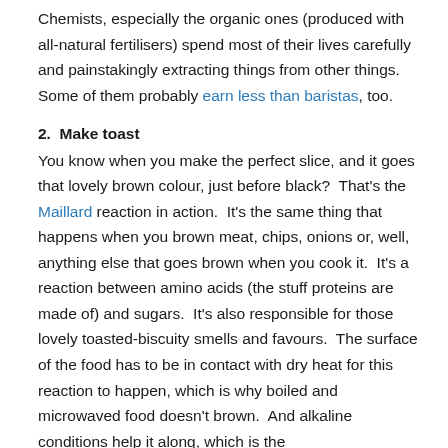Chemists, especially the organic ones (produced with all-natural fertilisers) spend most of their lives carefully and painstakingly extracting things from other things. Some of them probably earn less than baristas, too.
2.  Make toast
You know when you make the perfect slice, and it goes that lovely brown colour, just before black?  That's the Maillard reaction in action.  It's the same thing that happens when you brown meat, chips, onions or, well, anything else that goes brown when you cook it.  It's a reaction between amino acids (the stuff proteins are made of) and sugars.  It's also responsible for those lovely toasted-biscuity smells and favours.  The surface of the food has to be in contact with dry heat for this reaction to happen, which is why boiled and microwaved food doesn't brown.  And alkaline conditions help it along, which is the